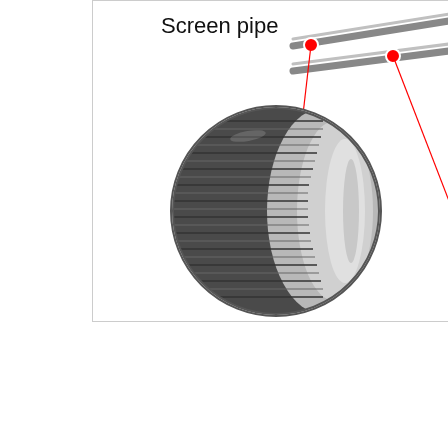[Figure (engineering-diagram): Engineering diagram showing a 'Screen pipe' label with an inset circular close-up photograph of a cylindrical threaded/ribbed pipe end (stainless steel), connected by a red line to two parallel pipe rods shown diagonally. Red dots mark the connection points on the rods. The diagram is inside a light gray bordered box.]